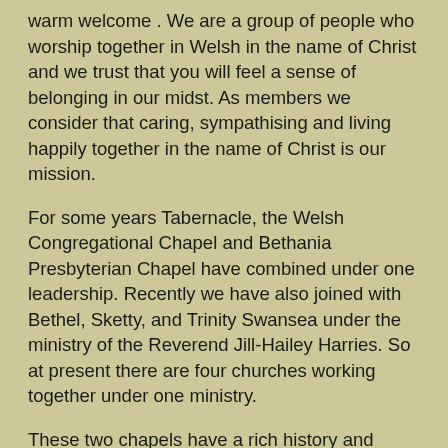warm welcome . We are a group of people who worship together in Welsh in the name of Christ and we trust that you will feel a sense of belonging in our midst. As members we consider that caring, sympathising and living happily together in the name of Christ is our mission.
For some years Tabernacle, the Welsh Congregational Chapel and Bethania Presbyterian Chapel have combined under one leadership. Recently we have also joined with Bethel, Sketty, and Trinity Swansea under the ministry of the Reverend Jill-Hailey Harries. So at present there are four churches working together under one ministry.
These two chapels have a rich history and tradition as centres of worship in Morriston. We present here details of services and also contact numbers. In this website we shall be adding information about special occasions and changes in organisation from time to time.
We are very happy to be in the care of our new minister, who has been here since last summer. She administers